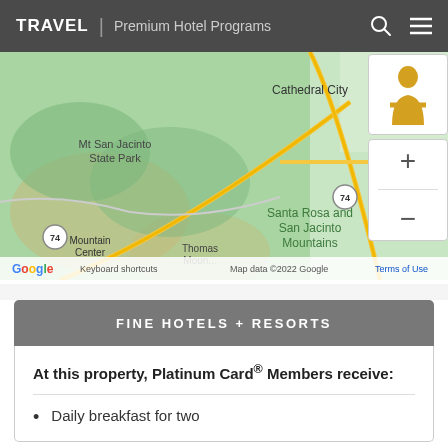TRAVEL | Premium Hotel Programs
[Figure (map): Google Maps showing Palm Desert area including Mt San Jacinto State Park, Cathedral City, Palm Desert, Santa Rosa and San Jacinto Mountains, Thomas Mountain, Mountain Center. Map data ©2022 Google.]
FINE HOTELS + RESORTS
At this property, Platinum Card® Members receive:
Daily breakfast for two